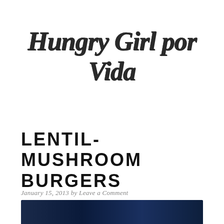Hungry Girl por Vida
LENTIL-MUSHROOM BURGERS
January 15, 2013 by Leave a Comment
[Figure (photo): Dark navy blue banner/image at bottom of page]